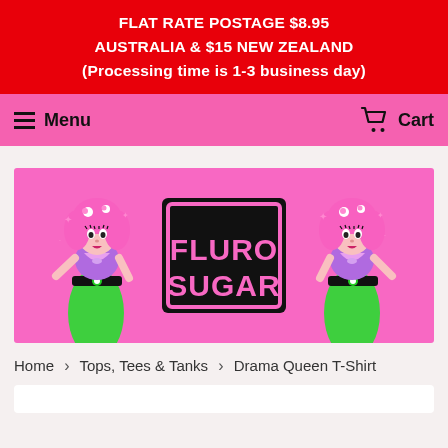FLAT RATE POSTAGE $8.95 AUSTRALIA & $15 NEW ZEALAND (Processing time is 1-3 business day)
Menu  Cart
[Figure (logo): Fluro Sugar brand banner with two cartoon pin-up girls in green skirts and pink hair flanking a large black box with pink text reading FLURO SUGAR on a pink background]
Home › Tops, Tees & Tanks › Drama Queen T-Shirt